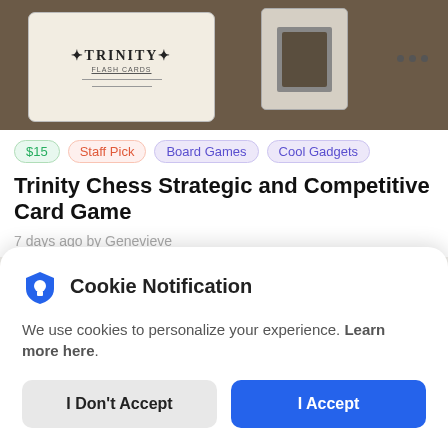[Figure (screenshot): Top portion of a product listing page showing Trinity Chess card game product image with two card decks visible against a dark background, and a three-dot menu icon.]
$15  Staff Pick  Board Games  Cool Gadgets
Trinity Chess Strategic and Competitive Card Game
7 days ago by Genevieve
[Figure (screenshot): Second product image showing card text snippets 'who is tak... ky kardasi k...' and 'with that with bom...' with a green avatar circle.]
Cookie Notification
We use cookies to personalize your experience. Learn more here.
I Don't Accept
I Accept